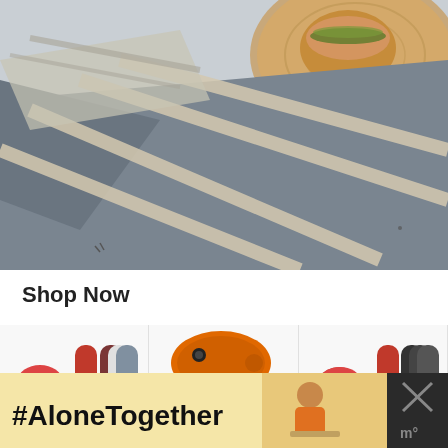[Figure (photo): Overhead photo of a burger on a wooden board with a striped grey and beige cloth/napkin on a light blue-grey surface]
Shop Now
[Figure (photo): Product row showing KitchenAid mixers and accessories: red mixer with color attachment options, orange stand mixer, red mixer with black attachment options]
[Figure (photo): Advertisement banner with yellow/cream background showing '#AloneTogether' in bold black text, with a side image of a woman in kitchen and a dark panel with X close button]